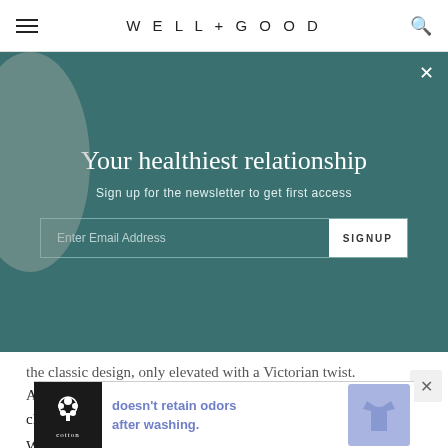WELL+GOOD
[Figure (screenshot): Newsletter signup modal overlay on teal/dark green background with title 'Your healthiest relationship', subtitle 'Sign up for the newsletter to get first access', email input field and SIGNUP button]
the classic design, only elevated with a Victorian twist. According to the brand, the styles were inspired by classic Victorian paintings and “forbidden love.” So, what does that look like exactly?
Well, the Ophelia Dress features a cinched corset-style waist with florals adorned all over the bodice
[Figure (screenshot): Cotton ad banner: black background with cotton logo, purple text 'doesn’t retain odors after washing.' and blue t-shirt image]